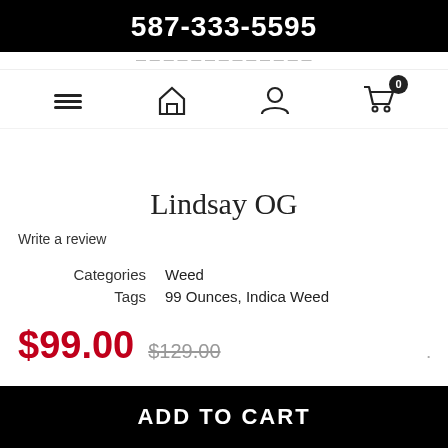587-333-5595
Write a review
Lindsay OG
|  |  |
| --- | --- |
| Categories | Weed |
| Tags | 99 Ounces, Indica Weed |
$99.00  $129.00
ADD TO CART